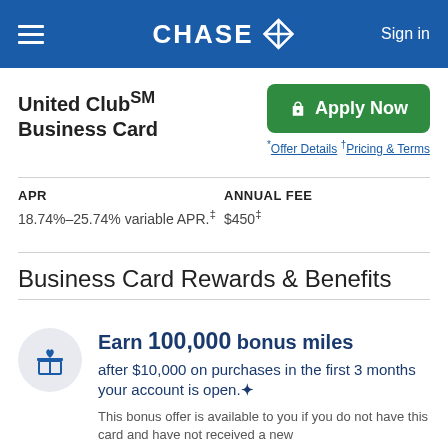CHASE  Sign in
United Club℠ Business Card
Apply Now
* Offer Details  † Pricing & Terms
| APR | ANNUAL FEE |
| --- | --- |
| 18.74%–25.74% variable APR.‡ | $450‡ |
Business Card Rewards & Benefits
Earn 100,000 bonus miles after $10,000 on purchases in the first 3 months your account is open.✦
This bonus offer is available to you if you do not have this card and have not received a new